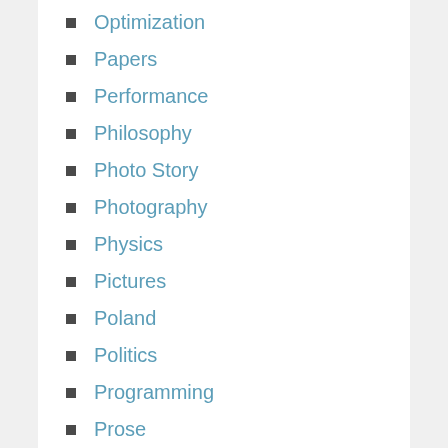Optimization
Papers
Performance
Philosophy
Photo Story
Photography
Physics
Pictures
Poland
Politics
Programming
Prose
Python
Questions